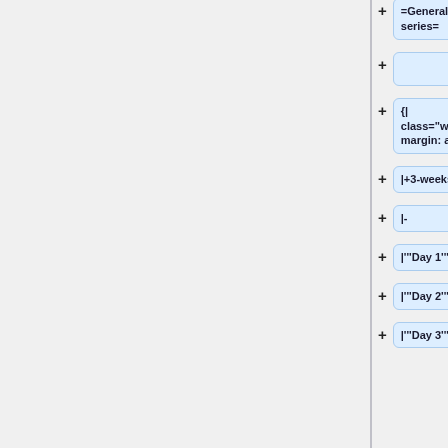=General overview of the "3 weeks" tutorial series=
{| class="wikitable" style="text-align: center; margin: auto" align="center"
|+3-weeks-series
|-
|'''Day 1'''
|'''Day 2'''
|'''Day 3'''